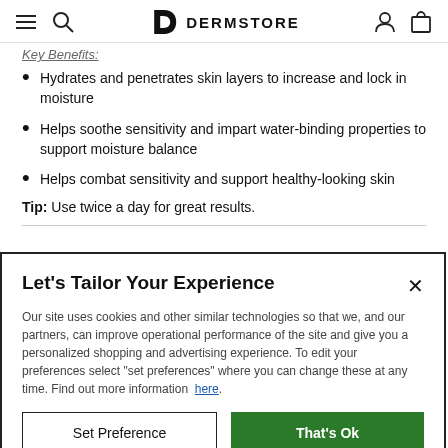DERMSTORE
Key Benefits:
Hydrates and penetrates skin layers to increase and lock in moisture
Helps soothe sensitivity and impart water-binding properties to support moisture balance
Helps combat sensitivity and support healthy-looking skin
Tip: Use twice a day for great results.
Let's Tailor Your Experience
Our site uses cookies and other similar technologies so that we, and our partners, can improve operational performance of the site and give you a personalized shopping and advertising experience. To edit your preferences select "set preferences" where you can change these at any time. Find out more information here.